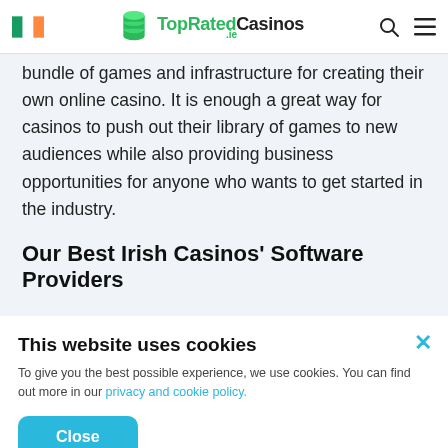TopRatedCasinos.ie
bundle of games and infrastructure for creating their own online casino. It is enough a great way for casinos to push out their library of games to new audiences while also providing business opportunities for anyone who wants to get started in the industry.
Our Best Irish Casinos' Software Providers
This website uses cookies
To give you the best possible experience, we use cookies. You can find out more in our privacy and cookie policy.
Close